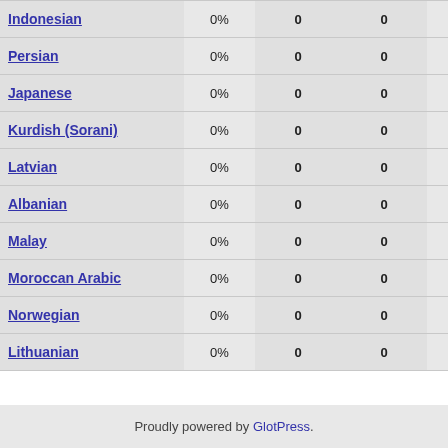| Language | % | 0 | 0 | 150 |
| --- | --- | --- | --- | --- |
| Indonesian | 0% | 0 | 0 | 150 |
| Persian | 0% | 0 | 0 | 150 |
| Japanese | 0% | 0 | 0 | 150 |
| Kurdish (Sorani) | 0% | 0 | 0 | 150 |
| Latvian | 0% | 0 | 0 | 150 |
| Albanian | 0% | 0 | 0 | 150 |
| Malay | 0% | 0 | 0 | 150 |
| Moroccan Arabic | 0% | 0 | 0 | 150 |
| Norwegian | 0% | 0 | 0 | 150 |
| Lithuanian | 0% | 0 | 0 | 150 |
Proudly powered by GlotPress.